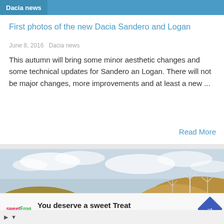Dacia news
First photos of the new Dacia Sandero and Logan
June 8, 2016  Dacia news
This autumn will bring some minor aesthetic changes and some technical updates for Sandero an Logan. There will not be major changes, more improvements and at least a new ...
Read More
[Figure (photo): A blue Dacia car driving on a road through hilly countryside with wind turbines in the background under a cloudy sky]
You deserve a sweet Treat
sweetFrog